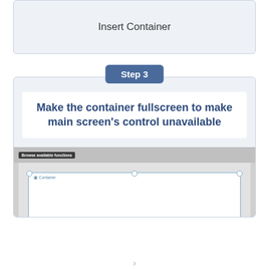[Figure (screenshot): Insert Container UI element panel with light blue-gray background]
Insert Container
Step 3
[Figure (screenshot): Step 3 panel showing a container element in fullscreen mode with browse available functions toolbar]
Make the container fullscreen to make main screen's control unavailable